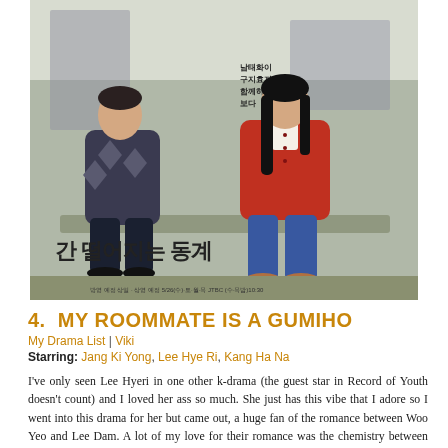[Figure (photo): Korean drama poster for 'My Roommate Is a Gumiho' (간 떨어지는 동거) showing a young man in a diamond-pattern sweater and a woman in a red cardigan sitting together outdoors. Korean text and broadcast date 5/26 visible at bottom.]
4. MY ROOMMATE IS A GUMIHO
My Drama List | Viki
Starring: Jang Ki Yong, Lee Hye Ri, Kang Ha Na
I've only seen Lee Hyeri in one other k-drama (the guest star in Record of Youth doesn't count) and I loved her ass so much. She just has this vibe that I adore so I went into this drama for her but came out, a huge fan of the romance between Woo Yeo and Lee Dam. A lot of my love for their romance was the chemistry between the two actors but I loved the fantasy behind it all as well. They worked through their issues together and I loved that Lee Dam, no matter how things looked, trusted in her love for Woo